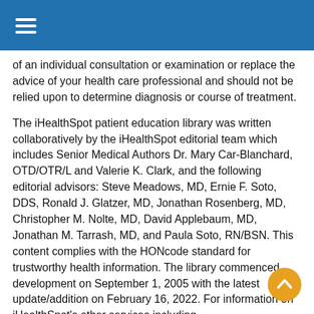Navigation header bar with hamburger menu icon
of an individual consultation or examination or replace the advice of your health care professional and should not be relied upon to determine diagnosis or course of treatment.
The iHealthSpot patient education library was written collaboratively by the iHealthSpot editorial team which includes Senior Medical Authors Dr. Mary Car-Blanchard, OTD/OTR/L and Valerie K. Clark, and the following editorial advisors: Steve Meadows, MD, Ernie F. Soto, DDS, Ronald J. Glatzer, MD, Jonathan Rosenberg, MD, Christopher M. Nolte, MD, David Applebaum, MD, Jonathan M. Tarrash, MD, and Paula Soto, RN/BSN. This content complies with the HONcode standard for trustworthy health information. The library commenced development on September 1, 2005 with the latest update/addition on February 16, 2022. For information on iHealthSpot's other services including